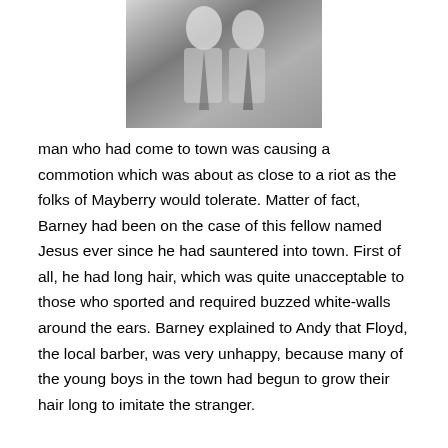[Figure (photo): Black and white photograph of two people, cropped at top of page, centered.]
man who had come to town was causing a commotion which was about as close to a riot as the folks of Mayberry would tolerate. Matter of fact, Barney had been on the case of this fellow named Jesus ever since he had sauntered into town. First of all, he had long hair, which was quite unacceptable to those who sported and required buzzed white-walls around the ears. Barney explained to Andy that Floyd, the local barber, was very unhappy, because many of the young boys in the town had begun to grow their hair long to imitate the stranger.